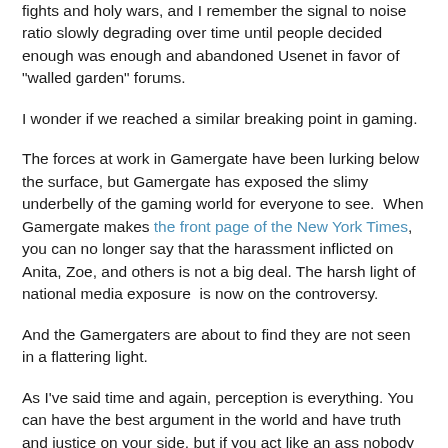fights and holy wars, and I remember the signal to noise ratio slowly degrading over time until people decided enough was enough and abandoned Usenet in favor of "walled garden" forums.
I wonder if we reached a similar breaking point in gaming.
The forces at work in Gamergate have been lurking below the surface, but Gamergate has exposed the slimy underbelly of the gaming world for everyone to see.  When Gamergate makes the front page of the New York Times, you can no longer say that the harassment inflicted on Anita, Zoe, and others is not a big deal. The harsh light of national media exposure  is now on the controversy.
And the Gamergaters are about to find they are not seen in a flattering light.
As I've said time and again, perception is everything. You can have the best argument in the world and have truth and justice on your side, but if you act like an ass nobody will believe you. Gamergators don't exactly have truth and justice